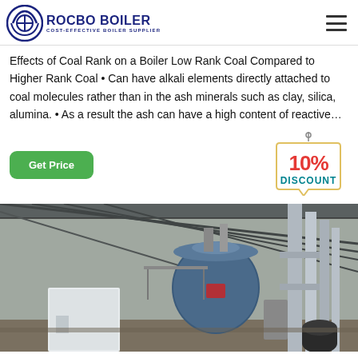ROCBO BOILER - COST-EFFECTIVE BOILER SUPPLIER
Effects of Coal Rank on a Boiler Low Rank Coal Compared to Higher Rank Coal • Can have alkali elements directly attached to coal molecules rather than in the ash minerals such as clay, silica, alumina. • As a result the ash can have a high content of reactive…
[Figure (infographic): 10% DISCOUNT badge with hanging tag design]
[Figure (photo): Industrial boiler installation inside a large warehouse/factory. A large blue cylindrical boiler is visible in the center with pipes and equipment around it. The ceiling is metal with industrial lighting.]